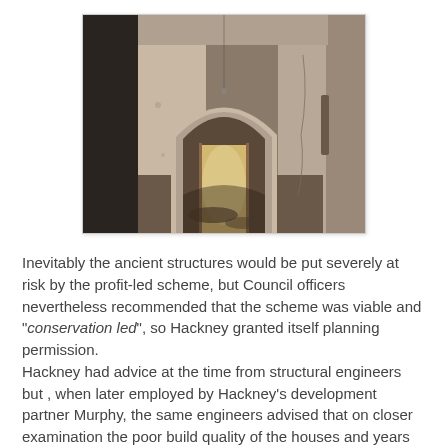[Figure (photo): Photograph of a dilapidated interior corridor showing a stone archway framing a doorway, with peeling walls and debris on the floor, warm yellowish light visible through the far doorway.]
Inevitably the ancient structures would be put severely at risk by the profit-led scheme, but Council officers nevertheless recommended that the scheme was viable and "conservation led", so Hackney granted itself planning permission. Hackney had advice at the time from structural engineers but , when later employed by Hackney's development partner Murphy, the same engineers advised that on closer examination the poor build quality of the houses and years of neglect meant that even the facades could not be retained in any new scheme.